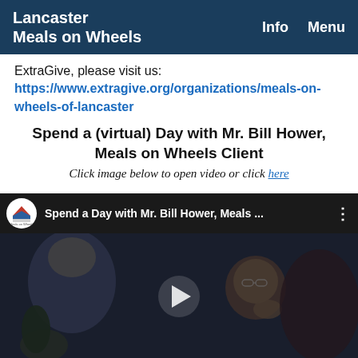Lancaster Meals on Wheels | Info | Menu
ExtraGive, please visit us: https://www.extragive.org/organizations/meals-on-wheels-of-lancaster
Spend a (virtual) Day with Mr. Bill Hower, Meals on Wheels Client
Click image below to open video or click here
[Figure (screenshot): YouTube video thumbnail showing an elderly man in a chair, with Meals on Wheels logo, title 'Spend a Day with Mr. Bill Hower, Meals ...' and a play button overlay]